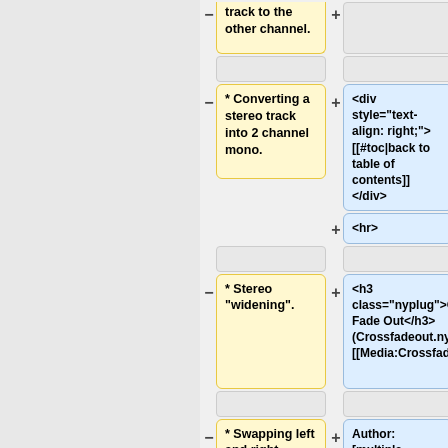track to the other channel.
* Converting a stereo track into 2 channel mono.
<div style="text-align: right;">[[#toc|back to table of contents]]</div>
<hr>
* Stereo "widening".
<h3 class="nyplug">Cross Fade Out</h3>(Crossfadeout.ny?)[[Media:Crossfadeout.ny|Download]]
* Swapping left and right channels of a stereo track.
Author: [multiple contributions]